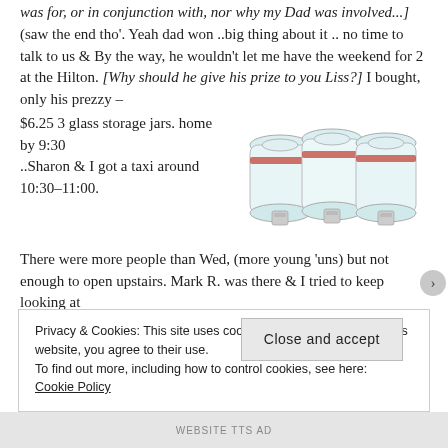was for, or in conjunction with, nor why my Dad was involved...] (saw the end tho'. Yeah dad won ..big thing about it .. no time to talk to us & By the way, he wouldn't let me have the weekend for 2 at the Hilton. [Why should he give his prize to you Liss?] I bought, only his prezzy – $6.25 3 glass storage jars. home by 9:30 ..Sharon & I got a taxi around 10:30–11:00. There were more people than Wed, (more young 'uns) but not enough to open upstairs. Mark R. was there & I tried to keep looking at
[Figure (photo): Three glass storage jars with metal clip-top lids and red rubber seals, arranged side by side]
Privacy & Cookies: This site uses cookies. By continuing to use this website, you agree to their use.
To find out more, including how to control cookies, see here:
Cookie Policy
Close and accept
WEBSITE TTS AD